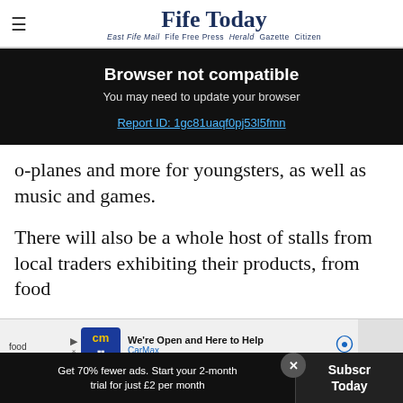Fife Today — East Fife Mail  Fife Free Press  Herald  Gazette  Citizen
Browser not compatible
You may need to update your browser
Report ID: 1gc81uaqf0pj53l5fmn
o-planes and more for youngsters, as well as music and games.
There will also be a whole host of stalls from local traders exhibiting their products, from food
[Figure (screenshot): CarMax advertisement: 'We're Open and Here to Help' with CarMax logo and direction sign icon]
Get 70% fewer ads. Start your 2-month trial for just £2 per month
Subscr Today